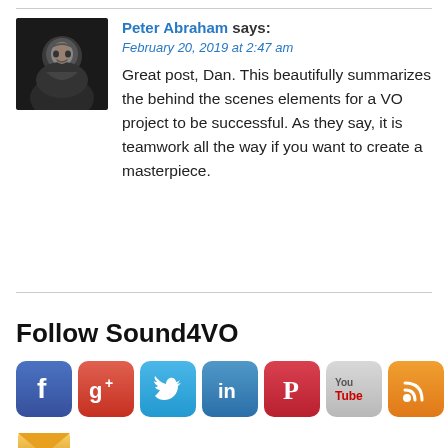Peter Abraham says: February 20, 2019 at 2:47 am
Great post, Dan. This beautifully summarizes the behind the scenes elements for a VO project to be successful. As they say, it is teamwork all the way if you want to create a masterpiece.
Follow Sound4VO
[Figure (infographic): Row of social media icon buttons: Facebook, Google+, Twitter, LinkedIn, Pinterest, YouTube, RSS, and an email icon below]